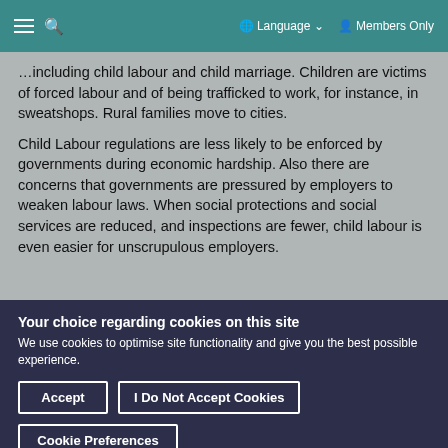≡ 🔍   🌐 Language ∨   👤 Members Only
…including child labour and child marriage. Children are victims of forced labour and of being trafficked to work, for instance, in sweatshops. Rural families move to cities.
Child Labour regulations are less likely to be enforced by governments during economic hardship. Also there are concerns that governments are pressured by employers to weaken labour laws. When social protections and social services are reduced, and inspections are fewer, child labour is even easier for unscrupulous employers.
Your choice regarding cookies on this site
We use cookies to optimise site functionality and give you the best possible experience.
Accept | I Do Not Accept Cookies | Cookie Preferences